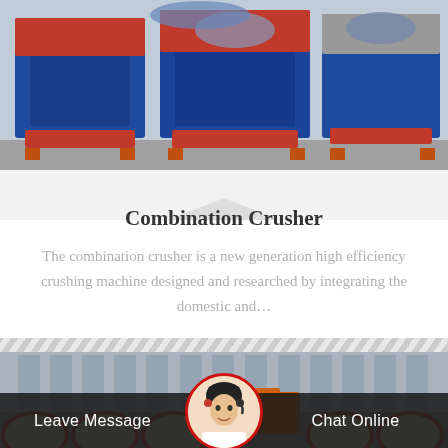[Figure (photo): Industrial combination crusher machines with blue metal frames and red accents, parked on a concrete lot]
Combination Crusher
The combination crusher is a new generation high efficiency crushing machine designed and researched by integrating the domestic and…
[Figure (photo): Industrial facility with large building in background, orange forklift, and row of cream-and-red round crusher machines in foreground]
Leave Message
Chat Online